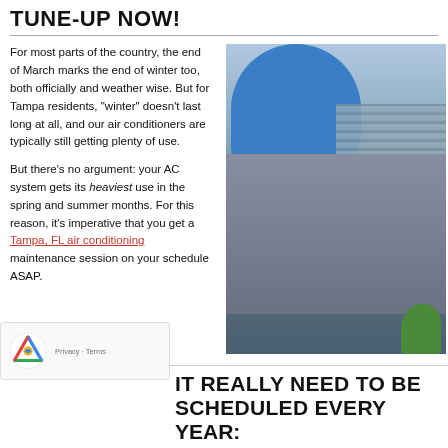TUNE-UP NOW!
For most parts of the country, the end of March marks the end of winter too, both officially and weather wise. But for Tampa residents, "winter" doesn't last long at all, and our air conditioners are typically still getting plenty of use.
But there's no argument: your AC system gets its heaviest use in the spring and summer months. For this reason, it's imperative that you get a Tampa, FL air conditioning maintenance session on your schedule ASAP.
[Figure (photo): A technician in a blue shirt using a yellow multimeter/testing device on an outdoor air conditioning unit, with wires connected to the unit. Green plants visible at bottom right.]
IT REALLY NEED TO BE SCHEDULED EVERY YEAR: